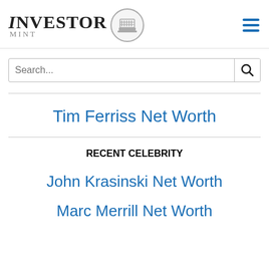INVESTOR MINT
Tim Ferriss Net Worth
RECENT CELEBRITY
John Krasinski Net Worth
Marc Merrill Net Worth